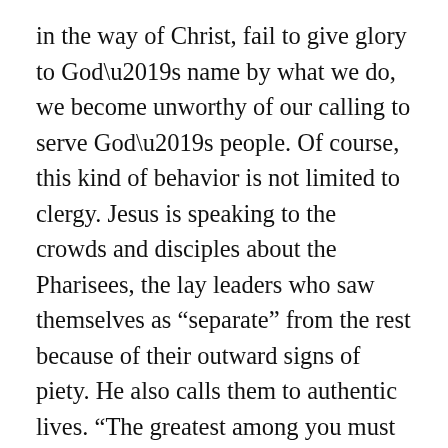in the way of Christ, fail to give glory to God’s name by what we do, we become unworthy of our calling to serve God’s people. Of course, this kind of behavior is not limited to clergy. Jesus is speaking to the crowds and disciples about the Pharisees, the lay leaders who saw themselves as “separate” from the rest because of their outward signs of piety. He also calls them to authentic lives. “The greatest among you must be your servant,” Jesus says, a message he repeats again and again in the Gospels. His followers are as resistant to it now as they were then. But the faithful follower is not about titles, or ecclesiastical dress-up, or posturing in selfimportance. Discipleship in the kingdom that Jesus came preaching is about being brothers and sisters who gather around Jesus Christ, the one Master, who humbled himself and waited for God